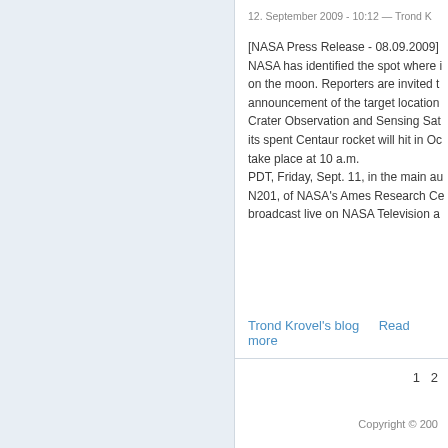12. September 2009 - 10:12 — Trond K
[NASA Press Release - 08.09.2009] NASA has identified the spot where it on the moon. Reporters are invited to announcement of the target location, Crater Observation and Sensing Sat its spent Centaur rocket will hit in Oc take place at 10 a.m. PDT, Friday, Sept. 11, in the main au N201, of NASA's Ames Research Ce broadcast live on NASA Television a
Trond Krovel's blog    Read more
1  2
Copyright © 200